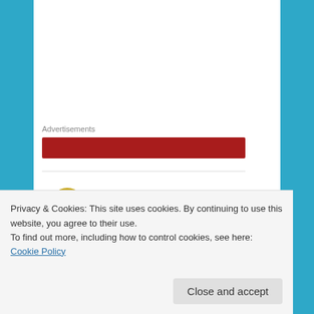Advertisements
[Figure (other): Red advertisement banner]
[Figure (illustration): Yellow snowflake avatar icon for user Dave]
Dave  September 1, 2014 at 12:48 AM
Diba yung number 2 is also known as ibong tarat?
Reply
Privacy & Cookies: This site uses cookies. By continuing to use this website, you agree to their use.
To find out more, including how to control cookies, see here: Cookie Policy
Close and accept